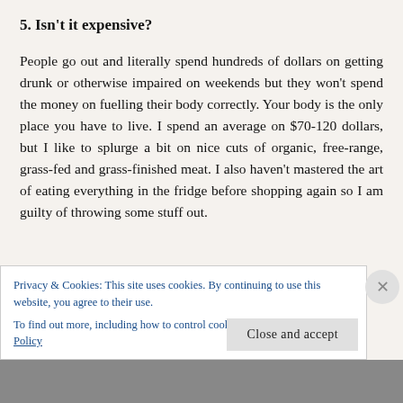5. Isn't it expensive?
People go out and literally spend hundreds of dollars on getting drunk or otherwise impaired on weekends but they won't spend the money on fuelling their body correctly. Your body is the only place you have to live. I spend an average on $70-120 dollars, but I like to splurge a bit on nice cuts of organic, free-range, grass-fed and grass-finished meat. I also haven't mastered the art of eating everything in the fridge before shopping again so I am guilty of throwing some stuff out.
Privacy & Cookies: This site uses cookies. By continuing to use this website, you agree to their use.
To find out more, including how to control cookies, see here: Cookie Policy
Close and accept